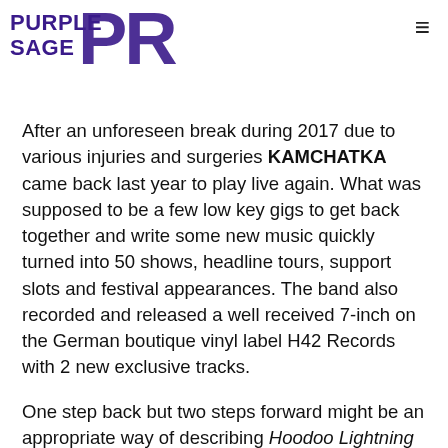PURPLE SAGE PR
[Figure (photo): Dark sepia-toned banner image showing a lighthouse in stormy seas with lightning in the background]
After an unforeseen break during 2017 due to various injuries and surgeries KAMCHATKA came back last year to play live again. What was supposed to be a few low key gigs to get back together and write some new music quickly turned into 50 shows, headline tours, support slots and festival appearances. The band also recorded and released a well received 7-inch on the German boutique vinyl label H42 Records with 2 new exclusive tracks.
One step back but two steps forward might be an appropriate way of describing Hoodoo Lightning as all the signature ingredients we've come to know are there. The guitar wizardry and heartfelt vocals from Thomas, Junoor